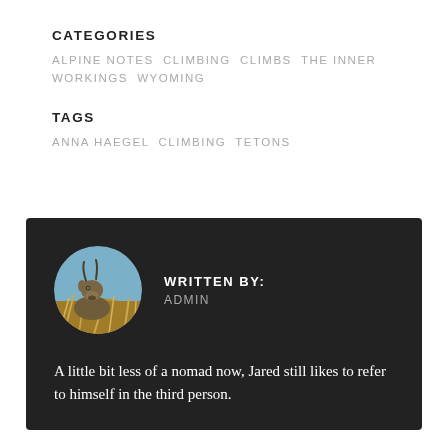CATEGORIES
ALPINE NOTES, CLIMBING, CLIMBS, THE INNER WORKINGS, WYOMING
TAGS
ANNA HAEGEL, CLIMBING, TETONS
[Figure (other): Dark author card with circular avatar photo of a mountain goat in grass against blue sky, with author byline and bio text]
WRITTEN BY: ADMIN
A little bit less of a nomad now, Jared still likes to refer to himself in the third person.